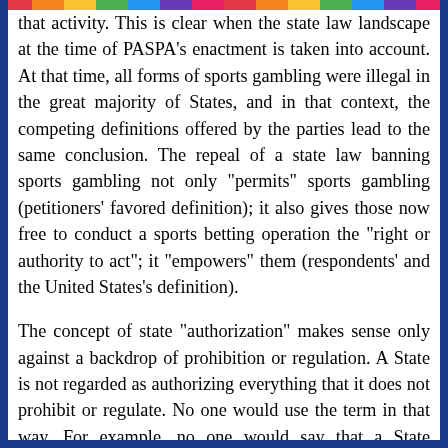that activity. This is clear when the state law landscape at the time of PASPA's enactment is taken into account. At that time, all forms of sports gambling were illegal in the great majority of States, and in that context, the competing definitions offered by the parties lead to the same conclusion. The repeal of a state law banning sports gambling not only "permits" sports gambling (petitioners' favored definition); it also gives those now free to conduct a sports betting operation the "right or authority to act"; it "empowers" them (respondents' and the United States's definition).
The concept of state "authorization" makes sense only against a backdrop of prohibition or regulation. A State is not regarded as authorizing everything that it does not prohibit or regulate. No one would use the term in that way. For example, no one would say that a State "authorizes" its residents to brush their teeth or